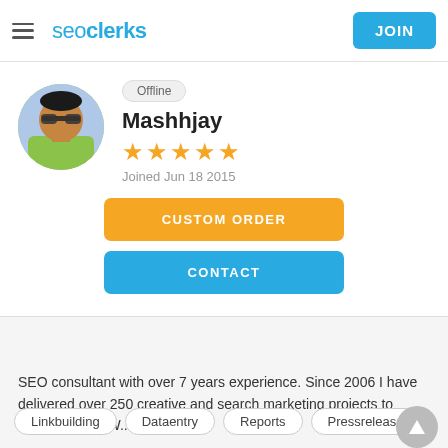seoclerks | JOIN
Offline
Mashhjay
Joined Jun 18 2015
CUSTOM ORDER
CONTACT
SEO consultant with over 7 years experience. Since 2006 I have delivered over 250 creative and search marketing projects to happy clients. W... more
Linkbuilding
Dataentry
Reports
Pressrelease
Seoanalysis
Webdevelopment